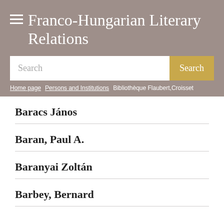Franco-Hungarian Literary Relations
[Figure (screenshot): Search bar with text input field and golden Search button]
Home page > Persons and Institutions > Bibliothèque Flaubert, Croisset
Baracs János
Baran, Paul A.
Baranyai Zoltán
Barbey, Bernard